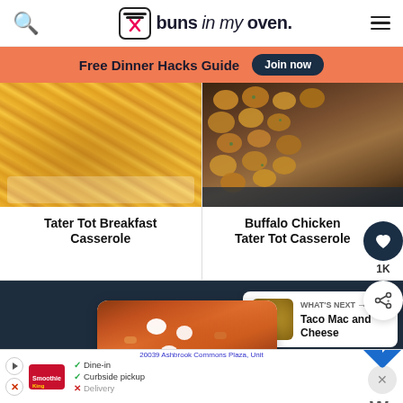buns in my oven.
Free Dinner Hacks Guide  Join now
[Figure (photo): Tater Tot Breakfast Casserole - close up photo of cheesy egg casserole]
Tater Tot Breakfast Casserole
[Figure (photo): Buffalo Chicken Tater Tot Casserole - close up photo of tater tots in a dark skillet]
Buffalo Chicken Tater Tot Casserole
[Figure (photo): Food photo in white rounded card - chili or stew with sour cream]
WHAT'S NEXT → Taco Mac and Cheese
1K
20039 Ashbrook Commons Plaza, Unit  Dine-in  Curbside pickup  Delivery